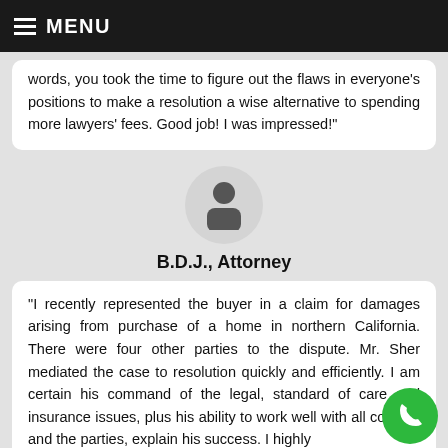MENU
words, you took the time to figure out the flaws in everyone's positions to make a resolution a wise alternative to spending more lawyers' fees. Good job! I was impressed!"
[Figure (illustration): Generic person/avatar silhouette icon inside a light gray circle]
B.D.J., Attorney
"I recently represented the buyer in a claim for damages arising from purchase of a home in northern California. There were four other parties to the dispute. Mr. Sher mediated the case to resolution quickly and efficiently. I am certain his command of the legal, standard of care and insurance issues, plus his ability to work well with all counsel and the parties, explain his success. I highly